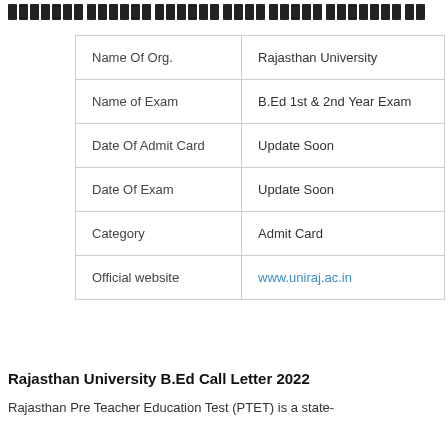राजस्थान यूनिवर्सिटी बी.एड एडमिट कार्ड 2022
| Field | Value |
| --- | --- |
| Name Of Org. | Rajasthan University |
| Name of Exam | B.Ed 1st & 2nd Year Exam |
| Date Of Admit Card | Update Soon |
| Date Of Exam | Update Soon |
| Category | Admit Card |
| Official website | www.uniraj.ac.in |
Rajasthan University B.Ed Call Letter 2022
Rajasthan Pre Teacher Education Test (PTET) is a state-